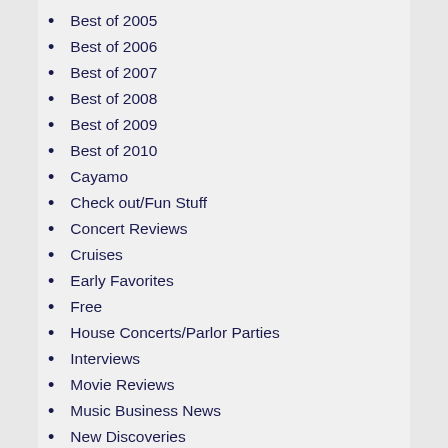Best of 2005
Best of 2006
Best of 2007
Best of 2008
Best of 2009
Best of 2010
Cayamo
Check out/Fun Stuff
Concert Reviews
Cruises
Early Favorites
Free
House Concerts/Parlor Parties
Interviews
Movie Reviews
Music Business News
New Discoveries
Newsletters
Opportunities